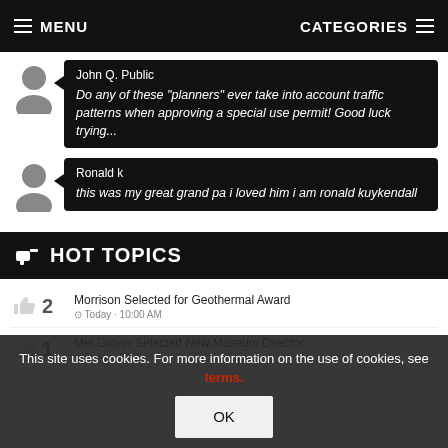MENU   CATEGORIES
John Q. Public
Do any of these "planners" ever take into account traffic patterns when approving a special use permit! Good luck trying...
Ronald k
this was my great grand pa i loved him i am ronald kuykendall
HOT TOPICS
Morrison Selected for Geothermal Award
Today · 10:00 AM
Mel Glover Selected New Museum Director
Today · 05:0...
This site uses cookies. For more information on the use of cookies, see terms.